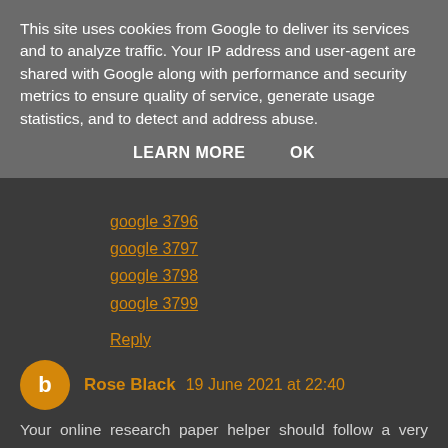This site uses cookies from Google to deliver its services and to analyze traffic. Your IP address and user-agent are shared with Google along with performance and security metrics to ensure quality of service, generate usage statistics, and to detect and address abuse.
LEARN MORE   OK
google 3796
google 3797
google 3798
google 3799
Reply
Rose Black  19 June 2021 at 22:40
Your online research paper helper should follow a very distinct format, which is- Abstract, Acknowledgement, Indexing, Introduction, Literature review, Research methods, data visualization, conclusion and recommendation, appendix, and references, are the different parts of submit. To be of the most advantage,